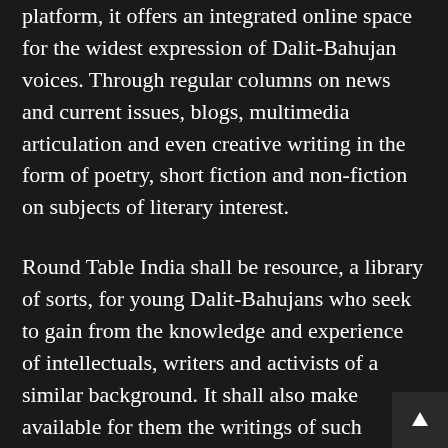platform, it offers an integrated online space for the widest expression of Dalit-Bahujan voices. Through regular columns on news and current issues, blogs, multimedia articulation and even creative writing in the form of poetry, short fiction and non-fiction on subjects of literary interest.
Round Table India shall be resource, a library of sorts, for young Dalit-Bahujans who seek to gain from the knowledge and experience of intellectuals, writers and activists of a similar background. It shall also make available for them the writings of such pioneering thinkers as Dr. Ambedkar and Phule, and help them delve into Dalit history, events, movements and personalities to understand the current age